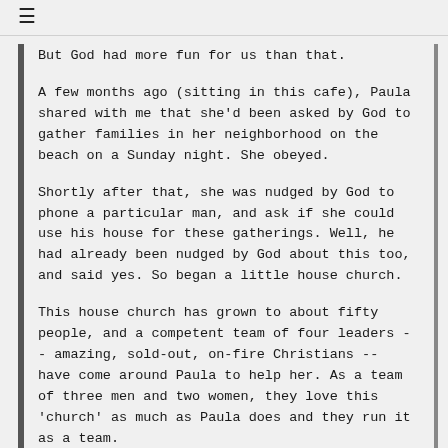≡
But God had more fun for us than that.
A few months ago (sitting in this cafe), Paula shared with me that she'd been asked by God to gather families in her neighborhood on the beach on a Sunday night. She obeyed.
Shortly after that, she was nudged by God to phone a particular man, and ask if she could use his house for these gatherings. Well, he had already been nudged by God about this too, and said yes. So began a little house church.
This house church has grown to about fifty people, and a competent team of four leaders -- amazing, sold-out, on-fire Christians -- have come around Paula to help her. As a team of three men and two women, they love this 'church' as much as Paula does and they run it as a team.